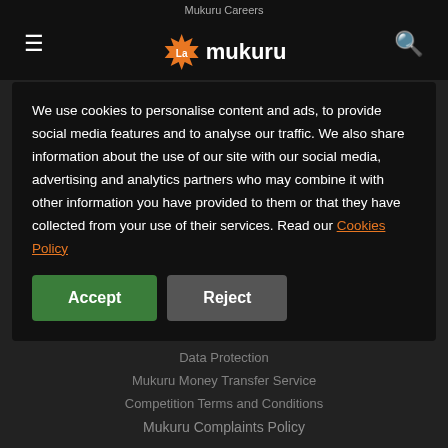Mukuru Careers | La mukuru (logo) | hamburger menu | search icon
Help & Support
We use cookies to personalise content and ads, to provide social media features and to analyse our traffic. We also share information about the use of our site with our social media, advertising and analytics partners who may combine it with other information you have provided to them or that they have collected from your use of their services. Read our Cookies Policy
Accept | Reject
Data Protection
Mukuru Money Transfer Service
Competition Terms and Conditions
Mukuru Complaints Policy